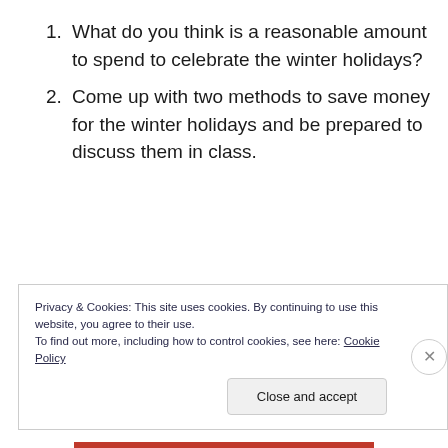What do you think is a reasonable amount to spend to celebrate the winter holidays?
Come up with two methods to save money for the winter holidays and be prepared to discuss them in class.
Privacy & Cookies: This site uses cookies. By continuing to use this website, you agree to their use.
To find out more, including how to control cookies, see here: Cookie Policy
Close and accept